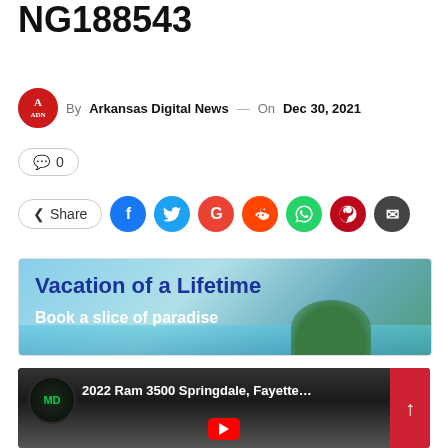NG188543
By Arkansas Digital News — On Dec 30, 2021
💬 0
< Share
[Figure (screenshot): Vacation of a Lifetime advertisement banner — 'Book a slice of paradise' with beach/island background]
[Figure (screenshot): YouTube video thumbnail: 2022 Ram 3500 Springdale, Fayette... with McLarty Daniel dealer logo]